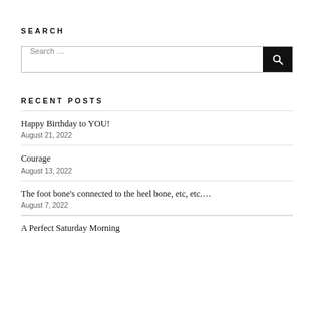SEARCH
[Figure (other): Search input box with a search button (magnifying glass icon) on the right]
RECENT POSTS
Happy Birthday to YOU!
August 21, 2022
Courage
August 13, 2022
The foot bone's connected to the heel bone, etc, etc….
August 7, 2022
A Perfect Saturday Morning